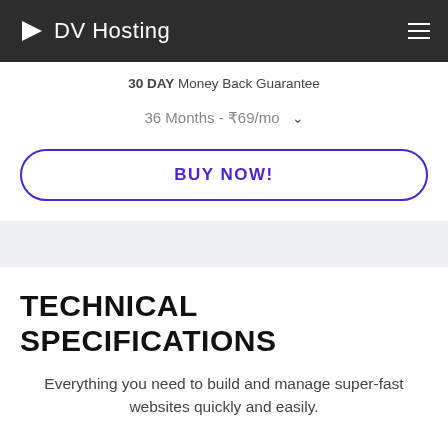DV Hosting
30 DAY Money Back Guarantee
36 Months - ₹69/mo
BUY NOW!
TECHNICAL SPECIFICATIONS
Everything you need to build and manage super-fast websites quickly and easily.